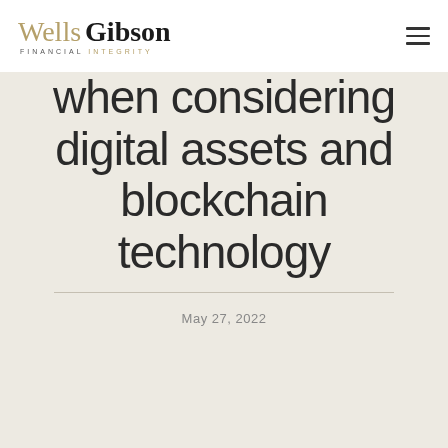Wells Gibson Financial Integrity
when considering digital assets and blockchain technology
May 27, 2022